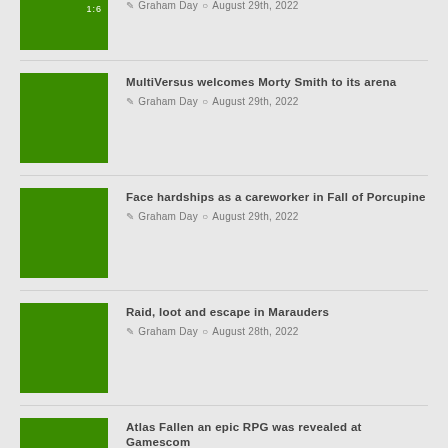[Figure (photo): Green thumbnail image, partially visible at top, article 1]
Graham Day · August 29th, 2022
[Figure (photo): Green thumbnail image, article 2]
MultiVersus welcomes Morty Smith to its arena
Graham Day · August 29th, 2022
[Figure (photo): Green thumbnail image, article 3]
Face hardships as a careworker in Fall of Porcupine
Graham Day · August 29th, 2022
[Figure (photo): Green thumbnail image, article 4]
Raid, loot and escape in Marauders
Graham Day · August 28th, 2022
[Figure (photo): Green thumbnail image, article 5, partially visible at bottom]
Atlas Fallen an epic RPG was revealed at Gamescom
Graham Day · August 28th, 2022